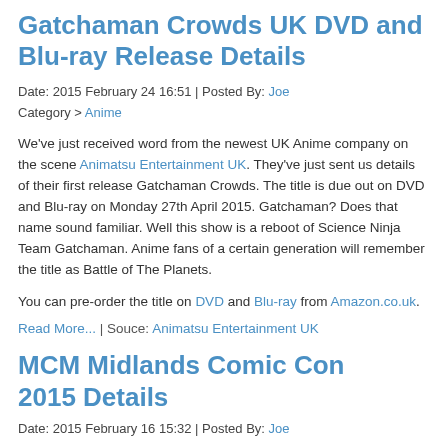Gatchaman Crowds UK DVD and Blu-ray Release Details
Date: 2015 February 24 16:51 | Posted By: Joe
Category > Anime
We've just received word from the newest UK Anime company on the scene Animatsu Entertainment UK. They've just sent us details of their first release Gatchaman Crowds. The title is due out on DVD and Blu-ray on Monday 27th April 2015. Gatchaman? Does that name sound familiar. Well this show is a reboot of Science Ninja Team Gatchaman. Anime fans of a certain generation will remember the title as Battle of The Planets.
You can pre-order the title on DVD and Blu-ray from Amazon.co.uk.
Read More... | Souce: Animatsu Entertainment UK
MCM Midlands Comic Con 2015 Details
Date: 2015 February 16 15:32 | Posted By: Joe